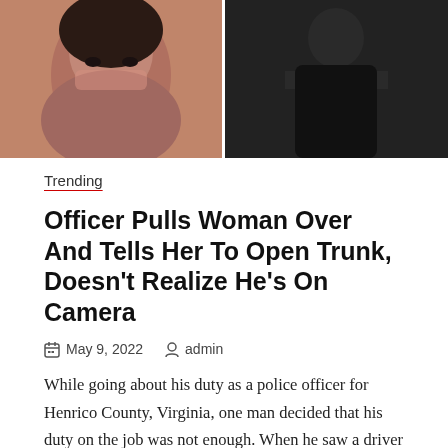[Figure (photo): Two-panel photo strip: left panel shows a close-up selfie of a woman, right panel shows a person in dark clothing outdoors.]
Trending
Officer Pulls Woman Over And Tells Her To Open Trunk, Doesn't Realize He's On Camera
May 9, 2022   admin
While going about his duty as a police officer for Henrico County, Virginia, one man decided that his duty on the job was not enough. When he saw a driver in need, the county officer pulled over his squad car and did something that Chy-Niece Thacker never expected. Not only did the police officer warn her about a brake that had gone out, but he also proceeded to do something that left her speechless.